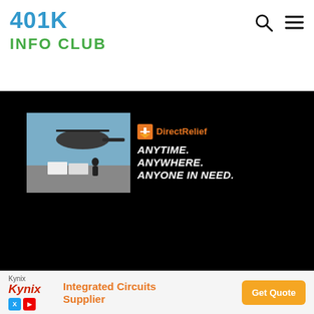401K INFO CLUB
[Figure (screenshot): Website screenshot showing 401K Info Club logo in header with search and menu icons, a dark background section with a Direct Relief advertisement banner (helicopter/military aid photo with text ANYTIME. ANYWHERE. ANYONE IN NEED.), and a Kynix Integrated Circuits Supplier bottom ad with Get Quote button.]
[Figure (other): Bottom advertisement bar for Kynix Integrated Circuits Supplier with Get Quote button]